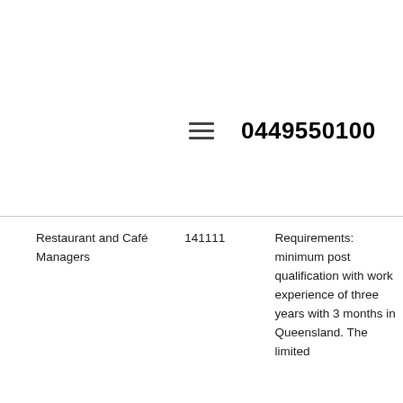0449550100
| Restaurant and Café Managers | 141111 | Requirements: minimum post qualification with work experience of three years with 3 months in Queensland. The limited... |